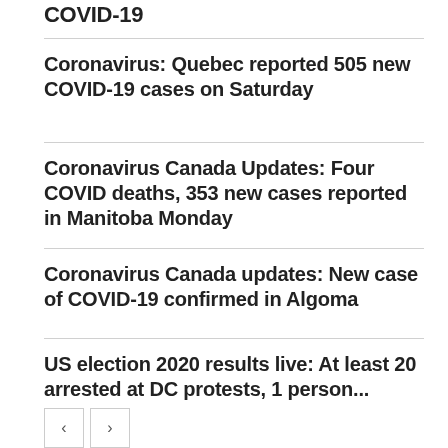COVID-19
Coronavirus: Quebec reported 505 new COVID-19 cases on Saturday
Coronavirus Canada Updates: Four COVID deaths, 353 new cases reported in Manitoba Monday
Coronavirus Canada updates: New case of COVID-19 confirmed in Algoma
US election 2020 results live: At least 20 arrested at DC protests, 1 person...